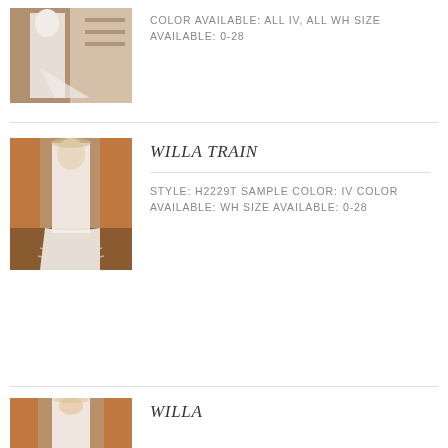[Figure (photo): Wedding dress photo - bride in white gown with train, standing in a doorway]
COLOR AVAILABLE: ALL IV, ALL WH SIZE AVAILABLE: 0-28
WILLA TRAIN
[Figure (photo): Wedding dress photo - bride in white gown with long lace-edged train displayed on warm-toned floor]
STYLE: H2229T SAMPLE COLOR: IV COLOR AVAILABLE: WH SIZE AVAILABLE: 0-28
WILLA
[Figure (photo): Wedding dress photo - bride in fitted white gown with V-neckline, standing in doorway]